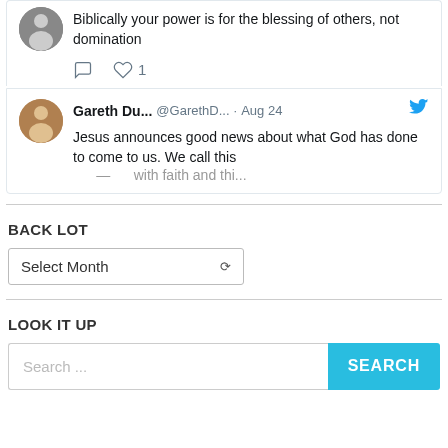Biblically your power is for the blessing of others, not domination
[Figure (screenshot): Tweet icons: comment and heart with count 1]
[Figure (screenshot): Tweet by Gareth Du... @GarethD... · Aug 24 with Twitter bird icon: Jesus announces good news about what God has done to come to us. We call this...]
BACK LOT
[Figure (screenshot): Dropdown select box with label 'Select Month' and dropdown arrow]
LOOK IT UP
[Figure (screenshot): Search bar with placeholder 'Search ...' and teal SEARCH button]